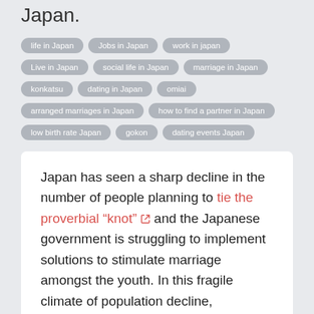Japan.
life in Japan
Jobs in Japan
work in japan
Live in Japan
social life in Japan
marriage in Japan
konkatsu
dating in Japan
omiai
arranged marriages in Japan
how to find a partner in Japan
low birth rate Japan
gokon
dating events Japan
Japan has seen a sharp decline in the number of people planning to tie the proverbial “knot” and the Japanese government is struggling to implement solutions to stimulate marriage amongst the youth. In this fragile climate of population decline, matchmaking companies and agencies are booming with their konkatsu services in an attempt to remedy this social